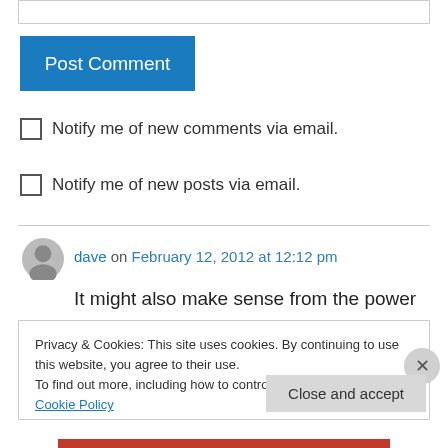[Figure (screenshot): Input text field at top of page]
[Figure (screenshot): Blue 'Post Comment' button]
Notify me of new comments via email.
Notify me of new posts via email.
dave on February 12, 2012 at 12:12 pm
It might also make sense from the power generation point of view. The power stations
Privacy & Cookies: This site uses cookies. By continuing to use this website, you agree to their use.
To find out more, including how to control cookies, see here: Cookie Policy
Close and accept